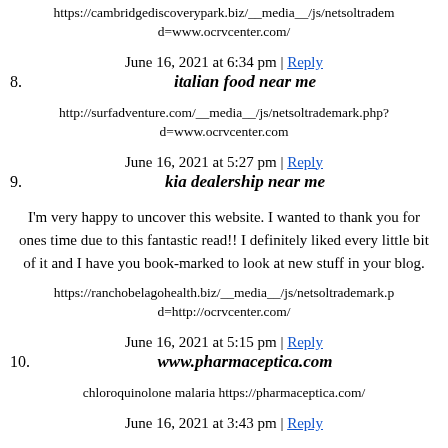https://cambridgediscoverypark.biz/__media__/js/netsoltradem d=www.ocrvcenter.com/
June 16, 2021 at 6:34 pm | Reply
8. italian food near me
http://surfadventure.com/__media__/js/netsoltrademark.php? d=www.ocrvcenter.com
June 16, 2021 at 5:27 pm | Reply
9. kia dealership near me
I'm very happy to uncover this website. I wanted to thank you for ones time due to this fantastic read!! I definitely liked every little bit of it and I have you book-marked to look at new stuff in your blog.
https://ranchobelagohealth.biz/__media__/js/netsoltrademark.p d=http://ocrvcenter.com/
June 16, 2021 at 5:15 pm | Reply
10. www.pharmaceptica.com
chloroquinolone malaria https://pharmaceptica.com/
June 16, 2021 at 3:43 pm | Reply